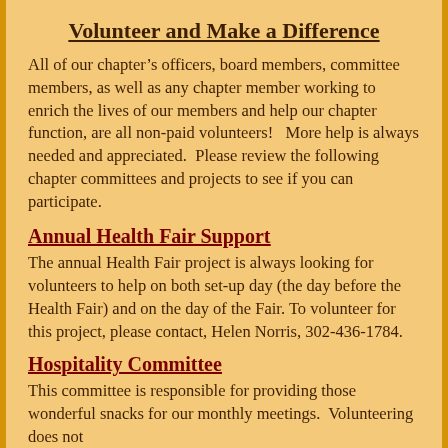Volunteer and Make a Difference
All of our chapter’s officers, board members, committee members, as well as any chapter member working to enrich the lives of our members and help our chapter function, are all non-paid volunteers!   More help is always needed and appreciated.  Please review the following chapter committees and projects to see if you can participate.
Annual Health Fair Support
The annual Health Fair project is always looking for volunteers to help on both set-up day (the day before the Health Fair) and on the day of the Fair. To volunteer for this project, please contact, Helen Norris, 302-436-1784.
Hospitality Committee
This committee is responsible for providing those wonderful snacks for our monthly meetings.  Volunteering does not